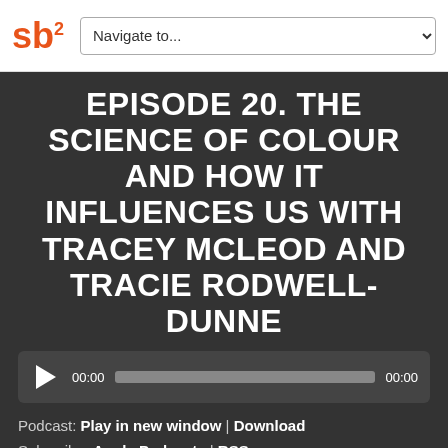[Figure (logo): sb2 logo in orange with superscript 2]
Navigate to...
EPISODE 20. THE SCIENCE OF COLOUR AND HOW IT INFLUENCES US WITH TRACEY MCLEOD AND TRACIE RODWELL-DUNNE
[Figure (other): Audio player with play button, timecode 00:00, progress bar, and end time 00:00]
Podcast: Play in new window | Download
Subscribe: Apple Podcasts | RSS
Spaces. They influence every part of our lives – our health, wealth and happiness. Each week on the Spaces podcast, Sam Buckby shares the insights of leading